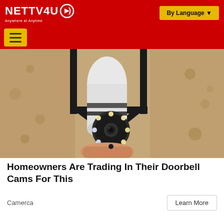NETTV4U — Anywhere at Anytime | By Language
[Figure (photo): A person holding a white security camera with LED ring, mounted on a black bracket attached to a textured stone wall exterior.]
Homeowners Are Trading In Their Doorbell Cams For This
Camerca
Learn More